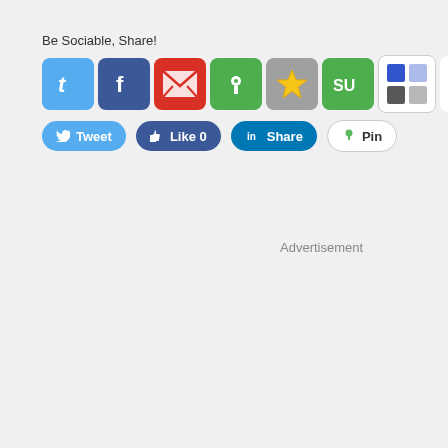Be Sociable, Share!
[Figure (screenshot): Row of social media sharing icon buttons: Twitter, Facebook, Email, Pinboard, Favorites, StumbleUpon, Delicious, Google Buzz, LinkedIn, and a +MORE button]
[Figure (screenshot): Row of social sharing action buttons: Tweet, Like 0, Share (LinkedIn), Pin]
Advertisement